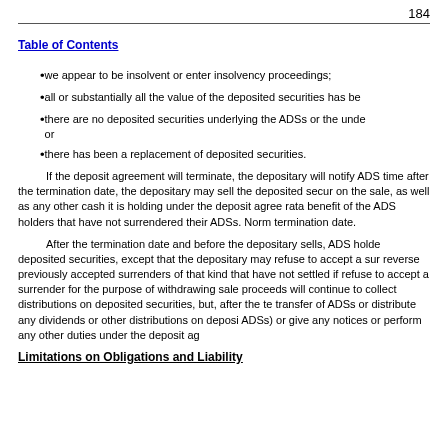184
we appear to be insolvent or enter insolvency proceedings;
all or substantially all the value of the deposited securities has be
there are no deposited securities underlying the ADSs or the unde or
there has been a replacement of deposited securities.
If the deposit agreement will terminate, the depositary will notify ADS time after the termination date, the depositary may sell the deposited secu on the sale, as well as any other cash it is holding under the deposit agree rata benefit of the ADS holders that have not surrendered their ADSs. Norm termination date.
After the termination date and before the depositary sells, ADS holde deposited securities, except that the depositary may refuse to accept a su reverse previously accepted surrenders of that kind that have not settled if refuse to accept a surrender for the purpose of withdrawing sale proceeds will continue to collect distributions on deposited securities, but, after the te transfer of ADSs or distribute any dividends or other distributions on deposi ADSs) or give any notices or perform any other duties under the deposit ag
Limitations on Obligations and Liability